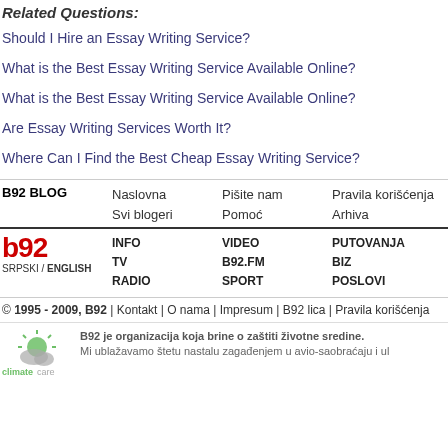Related Questions:
Should I Hire an Essay Writing Service?
What is the Best Essay Writing Service Available Online?
What is the Best Essay Writing Service Available Online?
Are Essay Writing Services Worth It?
Where Can I Find the Best Cheap Essay Writing Service?
B92 BLOG | Naslovna | Svi blogeri | Pišite nam | Pomoć | Pravila korišćenja | Arhiva
INFO TV RADIO VIDEO B92.FM SPORT PUTOVANJA BIZ POSLOVI | SRPSKI / ENGLISH
© 1995 - 2009, B92 | Kontakt | O nama | Impresum | B92 lica | Pravila korišćenja
B92 je organizacija koja brine o zaštiti životne sredine. Mi ublažavamo štetu nastalu zagađenjem u avio-saobraćaju i ul